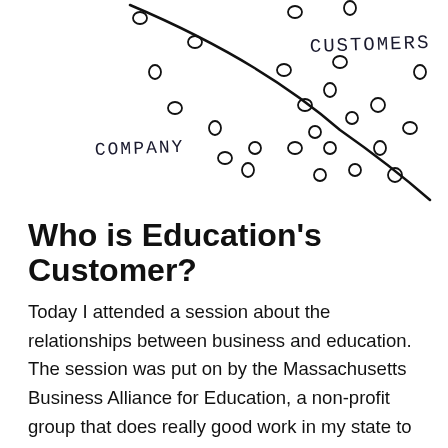[Figure (illustration): Hand-drawn sketch showing a curved dividing line separating 'COMPANY' (lower left) from 'CUSTOMERS' (upper right), with scattered small circles (o's) representing data points on both sides of the curve.]
Who is Education's Customer?
Today I attended a session about the relationships between business and education. The session was put on by the Massachusetts Business Alliance for Education, a non-profit group that does really good work in my state to improve education on the policy level. The purpose of the session was to … Continue reading →